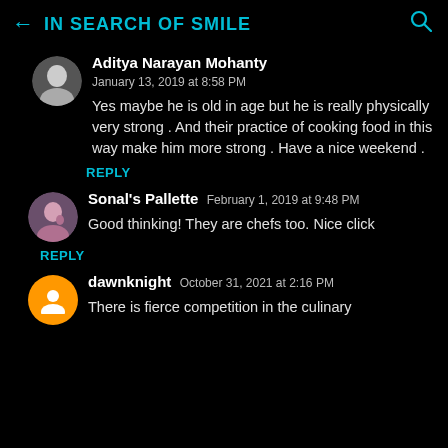IN SEARCH OF SMILE
Aditya Narayan Mohanty
January 13, 2019 at 8:58 PM
Yes maybe he is old in age but he is really physically very strong . And their practice of cooking food in this way make him more strong . Have a nice weekend .
REPLY
Sonal's Pallette  February 1, 2019 at 9:48 PM
Good thinking! They are chefs too. Nice click
REPLY
dawnknight  October 31, 2021 at 2:16 PM
There is fierce competition in the culinary